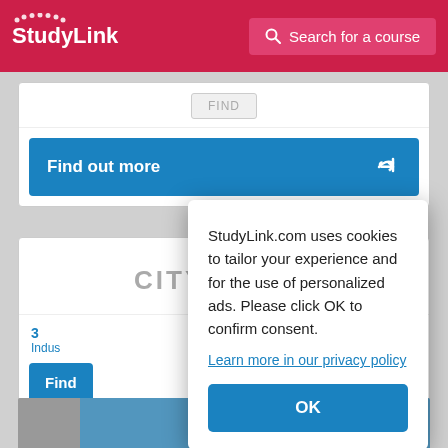[Figure (screenshot): StudyLink header with logo and Search for a course button]
Find
Find out more
[Figure (logo): City of Glasgow College logo]
3... Indus...
Find...
StudyLink.com uses cookies to tailor your experience and for the use of personalized ads. Please click OK to confirm consent.
Learn more in our privacy policy
OK